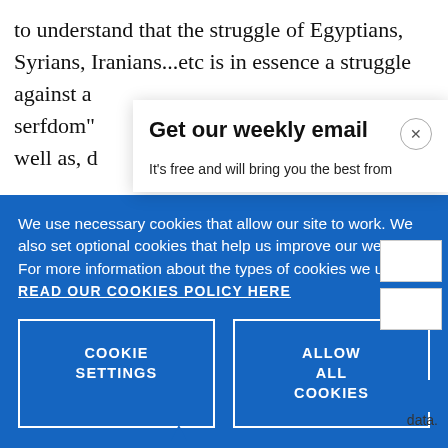to understand that the struggle of Egyptians, Syrians, Iranians...etc is in essence a struggle against a serfdom" well as, d
[Figure (screenshot): Cookie consent banner overlay in blue with 'We use necessary cookies that allow our site to work. We also set optional cookies that help us improve our website. For more information about the types of cookies we use. READ OUR COOKIES POLICY HERE' and two buttons: COOKIE SETTINGS and ALLOW ALL COOKIES]
[Figure (screenshot): Email signup modal popup with title 'Get our weekly email' and subtitle 'It's free and will bring you the best from' with a close X button]
data.